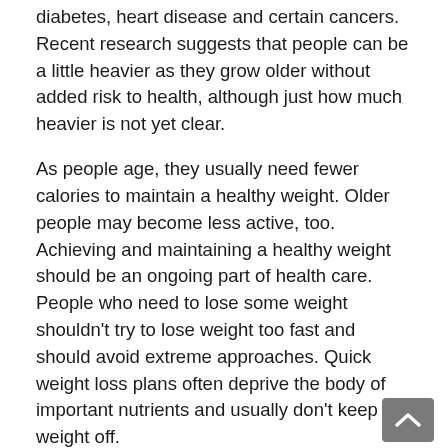diabetes, heart disease and certain cancers. Recent research suggests that people can be a little heavier as they grow older without added risk to health, although just how much heavier is not yet clear.
As people age, they usually need fewer calories to maintain a healthy weight. Older people may become less active, too. Achieving and maintaining a healthy weight should be an ongoing part of health care. People who need to lose some weight shouldn't try to lose weight too fast and should avoid extreme approaches. Quick weight loss plans often deprive the body of important nutrients and usually don't keep the weight off.
Be physically active
Physical activity can help reduce and control